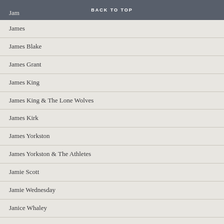BACK TO TOP
Jam
James
James Blake
James Grant
James King
James King & The Lone Wolves
James Kirk
James Yorkston
James Yorkston & The Athletes
Jamie Scott
Jamie Wednesday
Janice Whaley
Japan